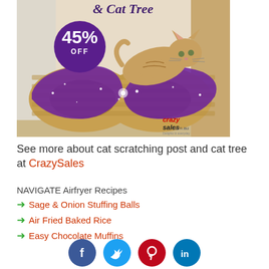[Figure (photo): Advertisement image for a cat scratching post and cat tree from CrazySales.com.au. Shows a tabby cat on an infinity-shaped cardboard scratcher with purple galaxy design. A purple circle badge shows 45% OFF discount.]
See more about cat scratching post and cat tree at CrazySales
NAVIGATE Airfryer Recipes
Sage & Onion Stuffing Balls
Air Fried Baked Rice
Easy Chocolate Muffins
[Figure (other): Social media icons row: Facebook (blue), Twitter (light blue), Pinterest (red), LinkedIn (blue)]